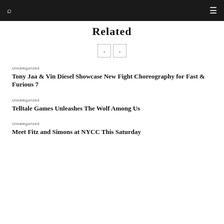Related
< >
Uncategorized
Tony Jaa & Vin Diesel Showcase New Fight Choreography for Fast & Furious 7
Uncategorized
Telltale Games Unleashes The Wolf Among Us
Uncategorized
Meet Fitz and Simons at NYCC This Saturday